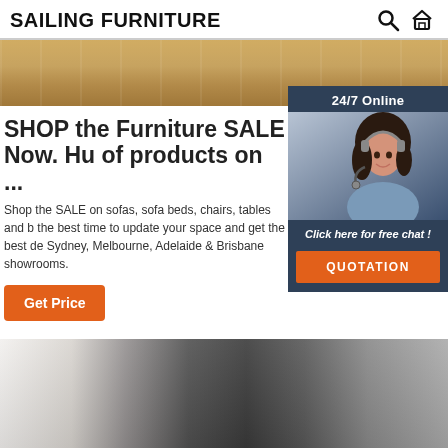SAILING FURNITURE
[Figure (photo): Wooden floor/furniture surface hero image strip]
[Figure (photo): 24/7 Online chat widget with female customer service agent wearing headset, dark blue background, orange QUOTATION button]
SHOP the Furniture SALE Now. Hu of products on ...
Shop the SALE on sofas, sofa beds, chairs, tables and b the best time to update your space and get the best de Sydney, Melbourne, Adelaide & Brisbane showrooms.
Get Price
[Figure (photo): Partial furniture product image at bottom of page, dark colored furniture on light background]